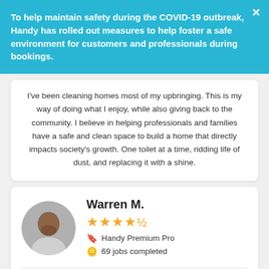To help maintain safety during the COVID-19 outbreak, Handy has rolled out measures to help foster a safe environment for customers and professionals during bookings.
I've been cleaning homes most of my upbringing. This is my way of doing what I enjoy, while also giving back to the community. I believe in helping professionals and families have a safe and clean space to build a home that directly impacts society's growth. One toilet at a time, ridding life of dust, and replacing it with a shine.
Warren M.
★★★★½
Handy Premium Pro
69 jobs completed
My name is Warren I have been a house cleaner for 5 years I am also a Manny (Male Nanny). I am from Minnesota Move to San Diego for better weather And better